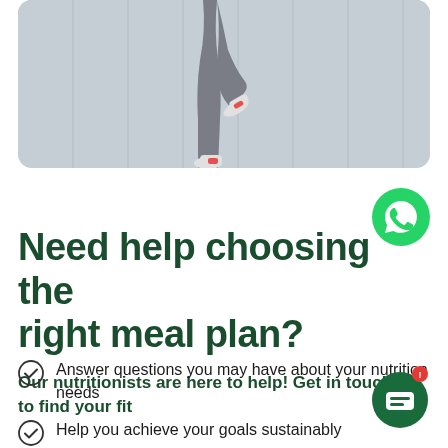[Figure (photo): Person jumping or leaping, wearing grey athletic wear and white/red shoes, against a grey paneled wall background. Only the lower body/legs are visible.]
[Figure (logo): WhatsApp green phone icon in circular green speech bubble]
Need help choosing the right meal plan?
Our nutritionists are here to help! Get in touch to find your fit
Answer questions you may have about your nutrition needs
Help you achieve your goals sustainably
[Figure (other): Green circular chat/message button with white speech bubble icon and red notification badge]